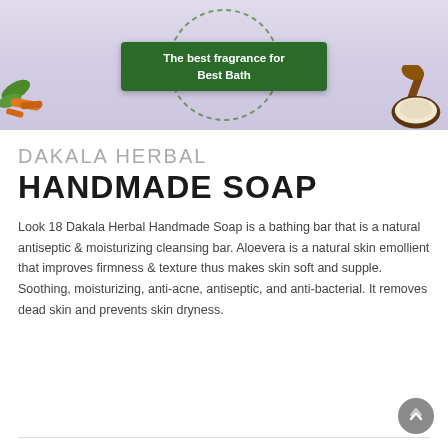[Figure (photo): Hero banner image showing herbal soap ingredients — turmeric root, coconut, and green leaves on towels with a green box overlay reading 'The best fragrance for Best Bath']
DAKALA HERBAL
HANDMADE SOAP
Look 18 Dakala Herbal Handmade Soap is a bathing bar that is a natural antiseptic & moisturizing cleansing bar. Aloevera is a natural skin emollient that improves firmness & texture thus makes skin soft and supple. Soothing, moisturizing, anti-acne, antiseptic, and anti-bacterial. It removes dead skin and prevents skin dryness.